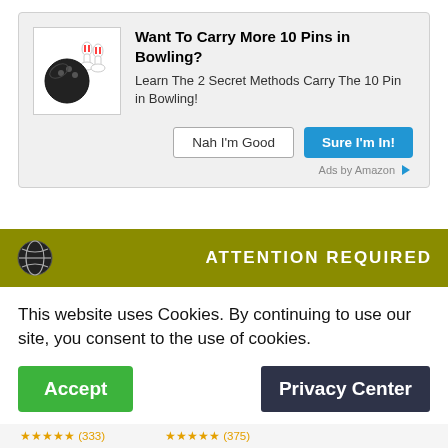[Figure (infographic): Amazon ad banner with bowling ball and pins icon, bold headline, body text, and two buttons]
Shop Related Products
[Figure (photo): Two bowling balls shown partially — a white/silver one on the left and a pink/blue/purple swirl one on the right]
[Figure (infographic): Cookie consent banner with olive/yellow-green header bar showing globe icon and ATTENTION REQUIRED text, white body with cookie notice text, Accept button (green) and Privacy Center button (dark navy)]